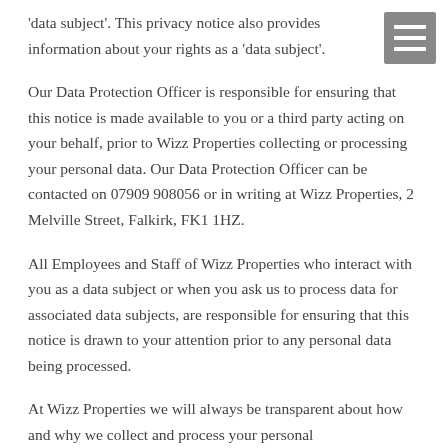'data subject'. This privacy notice also provides information about your rights as a 'data subject'.
Our Data Protection Officer is responsible for ensuring that this notice is made available to you or a third party acting on your behalf, prior to Wizz Properties collecting or processing your personal data. Our Data Protection Officer can be contacted on 07909 908056 or in writing at Wizz Properties, 2 Melville Street, Falkirk, FK1 1HZ.
All Employees and Staff of Wizz Properties who interact with you as a data subject or when you ask us to process data for associated data subjects, are responsible for ensuring that this notice is drawn to your attention prior to any personal data being processed.
At Wizz Properties we will always be transparent about how and why we collect and process your personal